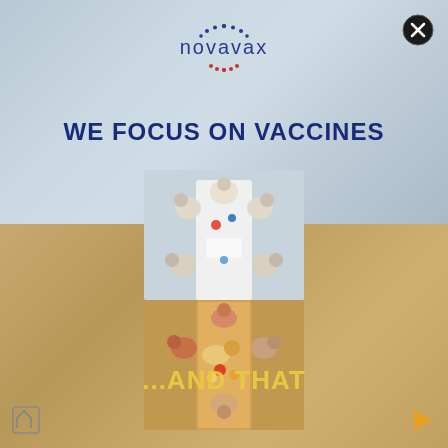[Figure (logo): Novavax logo with text and circular dotted design in blue]
WE FOCUS ON VACCINES
[Figure (photo): Split composite image: top half shows scientists in white lab coats working around a white table viewed from above (blue/grey background); bottom half shows children/family gathered around a table with food viewed from above (warm brown background)]
...AND THAT